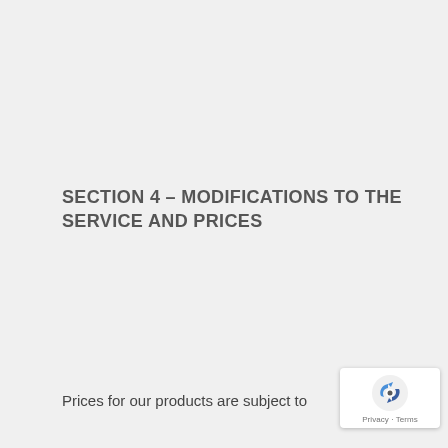SECTION 4 – MODIFICATIONS TO THE SERVICE AND PRICES
Prices for our products are subject to change without notice.